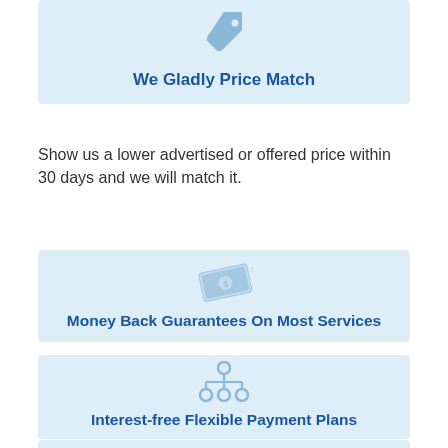[Figure (illustration): Price tag icon in light blue]
We Gladly Price Match
Show us a lower advertised or offered price within 30 days and we will match it.
[Figure (illustration): Money/banknote icon in light blue]
Money Back Guarantees On Most Services
[Figure (illustration): Organizational chart / hierarchy icon in light blue]
Interest-free Flexible Payment Plans
[Figure (illustration): Upload/share icon in light blue]
Updates 650+ Background Check